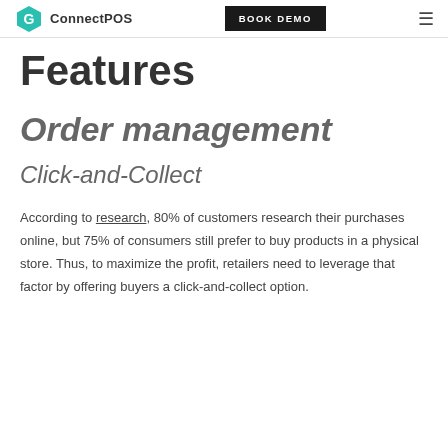ConnectPOS | BOOK DEMO
Features
Order management
Click-and-Collect
According to research, 80% of customers research their purchases online, but 75% of consumers still prefer to buy products in a physical store. Thus, to maximize the profit, retailers need to leverage that factor by offering buyers a click-and-collect option.